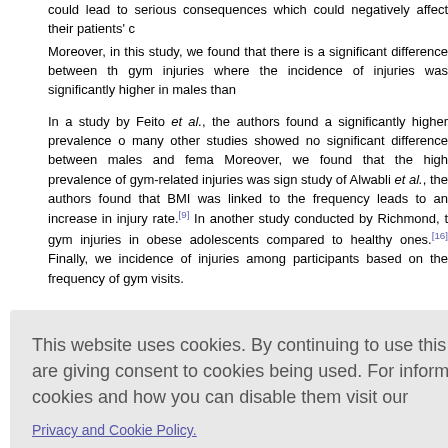could lead to serious consequences which could negatively affect their patients' c
Moreover, in this study, we found that there is a significant difference between the gym injuries where the incidence of injuries was significantly higher in males than
In a study by Feito et al., the authors found a significantly higher prevalence o many other studies showed no significant difference between males and fema Moreover, we found that the high prevalence of gym-related injuries was sign study of Alwabli et al., the authors found that BMI was linked to the frequency leads to an increase in injury rate.[9] In another study conducted by Richmond, t gym injuries in obese adolescents compared to healthy ones.[16] Finally, we incidence of injuries among participants based on the frequency of gym visits.
reased. In lated to suc t there is a
g on self-re ne question events whic
This website uses cookies. By continuing to use this website you are giving consent to cookies being used. For information on cookies and how you can disable them visit our Privacy and Cookie Policy. AGREE & PROCEED